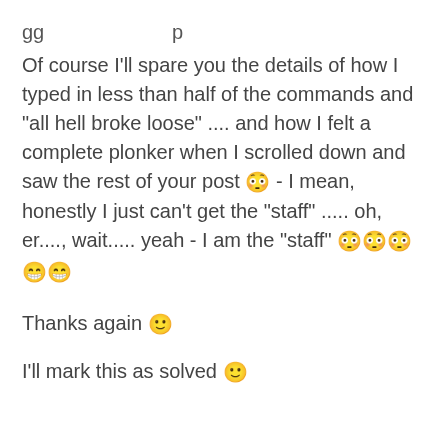Of course I'll spare you the details of how I typed in less than half of the commands and "all hell broke loose" .... and how I felt a complete plonker when I scrolled down and saw the rest of your post 😳 - I mean, honestly I just can't get the "staff" ..... oh, er...., wait..... yeah - I am the "staff" 😳😳😳 😁😁
Thanks again 🙂
I'll mark this as solved 🙂